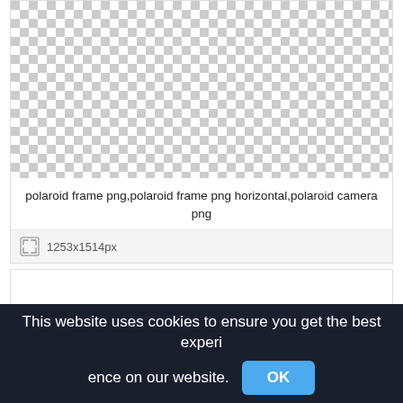[Figure (other): Checkerboard transparent background pattern for first image card]
polaroid frame png,polaroid frame png horizontal,polaroid camera png
1253x1514px
[Figure (other): Checkerboard transparent background pattern for second image card]
This website uses cookies to ensure you get the best experience on our website.